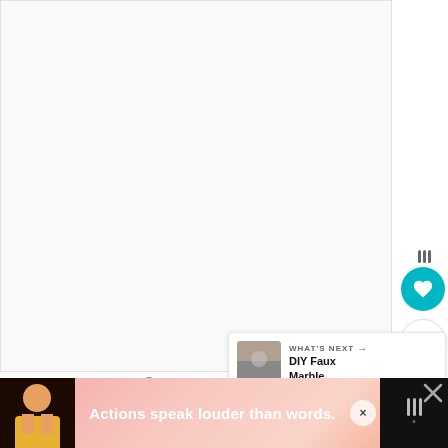[Figure (screenshot): Screenshot of a Pinterest-style web interface showing a white/light gray content area, a teal heart/save button with fork icon overlay, a share button, handwritten-style text 'love it?' and 'Pin it!', a 'WHAT'S NEXT' panel with a thumbnail and 'DIY Faux Marble...' text, and an ad banner at the bottom reading 'Actions speak louder than words.']